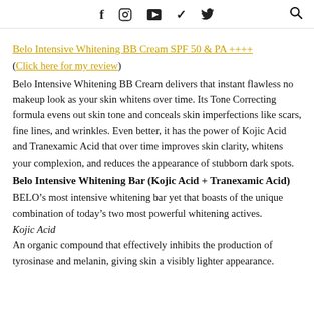f  [instagram]  [youtube]  [twitter]  [search]
Belo Intensive Whitening BB Cream SPF 50 & PA ++++
(Click here for my review)
Belo Intensive Whitening BB Cream delivers that instant flawless no makeup look as your skin whitens over time. Its Tone Correcting formula evens out skin tone and conceals skin imperfections like scars, fine lines, and wrinkles. Even better, it has the power of Kojic Acid and Tranexamic Acid that over time improves skin clarity, whitens your complexion, and reduces the appearance of stubborn dark spots.
Belo Intensive Whitening Bar (Kojic Acid + Tranexamic Acid)
BELO’s most intensive whitening bar yet that boasts of the unique combination of today’s two most powerful whitening actives.
Kojic Acid
An organic compound that effectively inhibits the production of tyrosinase and melanin, giving skin a visibly lighter appearance.